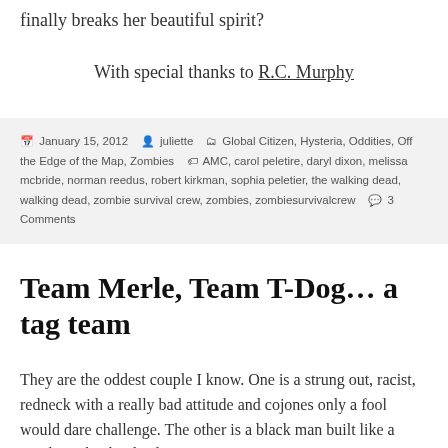finally breaks her beautiful spirit?
With special thanks to R.C. Murphy
January 15, 2012  juliette  Global Citizen, Hysteria, Oddities, Off the Edge of the Map, Zombies  AMC, carol peletire, daryl dixon, melissa mcbride, norman reedus, robert kirkman, sophia peletier, the walking dead, walking dead, zombie survival crew, zombies, zombiesurvivalcrew  3 Comments
Team Merle, Team T-Dog… a tag team
They are the oddest couple I know. One is a strung out, racist, redneck with a really bad attitude and cojones only a fool would dare challenge. The other is a black man built like a Mack truck who displays